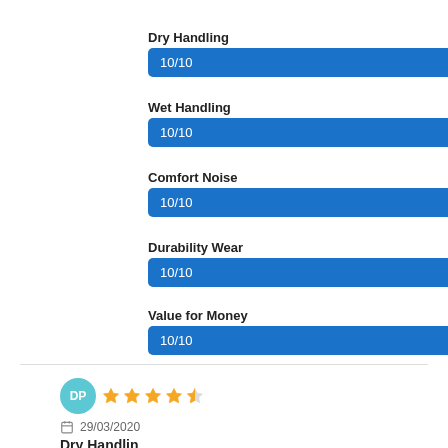Dry Handling
[Figure (infographic): Blue progress bar showing 10/10 for Dry Handling]
Wet Handling
[Figure (infographic): Blue progress bar showing 10/10 for Wet Handling]
Comfort Noise
[Figure (infographic): Blue progress bar showing 10/10 for Comfort Noise]
Durability Wear
[Figure (infographic): Blue progress bar showing 10/10 for Durability Wear]
Value for Money
[Figure (infographic): Blue progress bar showing 10/10 for Value for Money]
[Figure (infographic): User avatar circle with initials DP and 4-star rating]
29/03/2020
Dry Handling